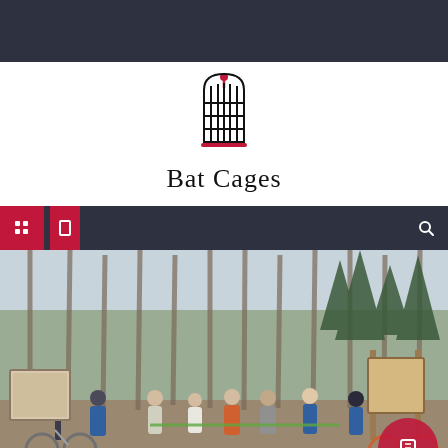[Figure (logo): Bat Cages logo: a bird cage illustration with a red top finial and red base bar, black cage bars forming a rounded rectangular grid shape]
Bat Cages
Navigation bar with menu icons
[Figure (photo): Group of approximately 9-10 people standing outdoors in a forest clearing for a ribbon-cutting ceremony. Two people on left with mountain bikes, a group of adults in the center cutting a green ribbon, two women on the right side and a person with an orange mountain bike on the far right. Bare deciduous trees and evergreen trees in the background. A trail map sign board visible on the left and a wooden welcome sign on the right. Pink/red circle overlay in the bottom right corner.]